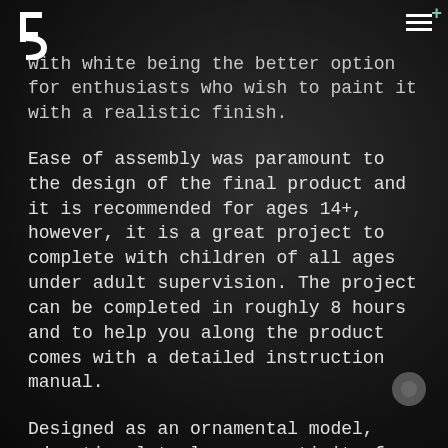Toolbox logo and navigation menu
with white being the better option for enthusiasts who wish to paint it with a realistic finish.
Ease of assembly was paramount to the design of the final product and it is recommended for ages 14+, however, it is a great project to complete with children of all ages under adult supervision. The project can be completed in roughly 8 hours and to help you along the product comes with a detailed instruction manual.
Designed as an ornamental model, educational tool or an activity for a rainy day, the bridge is ideal for model enthusiasts, budding engineers, teachers, and